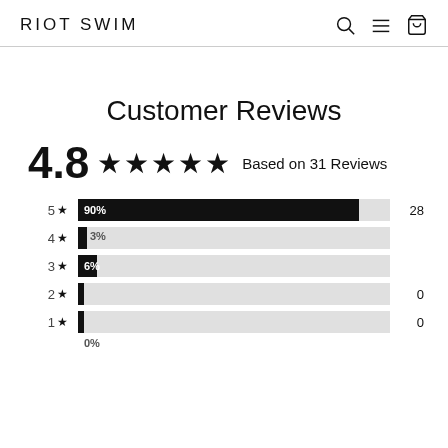RIOT SWIM
Customer Reviews
4.8 ★★★★★ Based on 31 Reviews
[Figure (bar-chart): Review Rating Distribution]